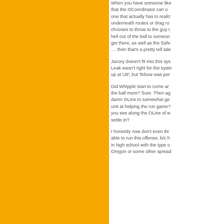[Figure (other): Orange rectangular panel on the left side of the page]
When you have someone like that the OCoordinator can one that actually has to realize underneath routes or drag ro chooses to throw to the guy t hell out of the ball to someone get there, as well as the Safe .... then that's a pretty tell tale
Jacory doesn't fit into this sys Leak wasn't right for the syste up at UiF, but Tebow was per
Did Whipple start to come ar the ball more? Sure. Then ag damn OLine to somewhat ge unit at helping the run game? you see along the OLine of w settle in?
I honestly now don't even thi able to run this offense, b/c h in high school with the type o Oregon or some other spread